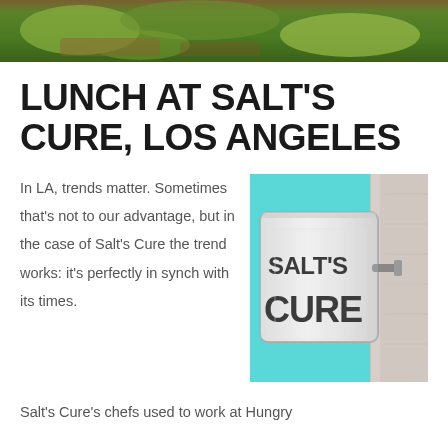[Figure (photo): Food photo at the top of the page showing salad/sandwich with green leaves on a wooden surface]
LUNCH AT SALT'S CURE, LOS ANGELES
In LA, trends matter. Sometimes that's not to our advantage, but in the case of Salt's Cure the trend works: it's perfectly in synch with its times.
[Figure (photo): Photo of Salt's Cure restaurant sign — a metal sign mounted on a white wall with cyan/teal background showing SALT'S CURE in bold dark letters]
Salt's Cure's chefs used to work at Hungry